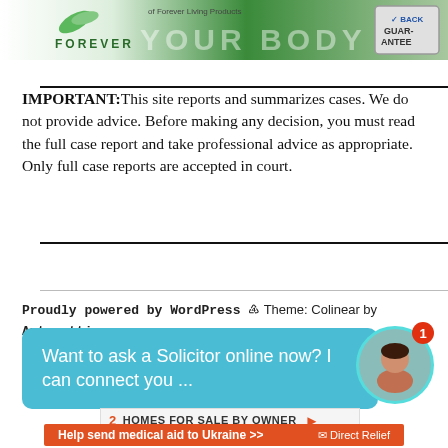[Figure (illustration): Banner advertisement for Forever Living Products showing green logo with 'FOREVER' text, 'YOUR BODY' large text overlay, 'of Forever Living Products' subtitle, and a Back Guarantee badge on the right.]
IMPORTANT:This site reports and summarizes cases. We do not provide advice. Before making any decision, you must read the full case report and take professional advice as appropriate. Only full case reports are accepted in court.
Proudly powered by WordPress ® Theme: Colinear by Automattic.
[Figure (screenshot): Chat widget with teal background asking 'Want to ask a Solicitor online now? I can connect you ...' with a circular avatar photo of a woman and a red notification badge showing '1'.]
[Figure (screenshot): HOMES FOR SALE BY OWNER advertisement bar with number 2 and orange arrow.]
[Figure (advertisement): Orange banner advertisement reading 'Help send medical aid to Ukraine >>' with Direct Relief logo on the right.]